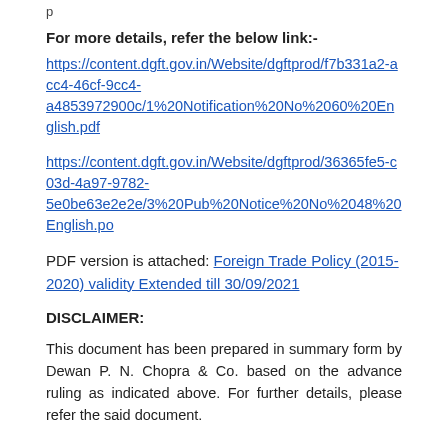For more details, refer the below link:-
https://content.dgft.gov.in/Website/dgftprod/f7b331a2-acc4-46cf-9cc4-a4853972900c/1%20Notification%20No%2060%20English.pdf
https://content.dgft.gov.in/Website/dgftprod/36365fe5-c03d-4a97-9782-5e0be63e2e2e/3%20Pub%20Notice%20No%2048%20English.pdf
PDF version is attached: Foreign Trade Policy (2015-2020) validity Extended till 30/09/2021
DISCLAIMER:
This document has been prepared in summary form by Dewan P. N. Chopra & Co. based on the advance ruling as indicated above. For further details, please refer the said document.